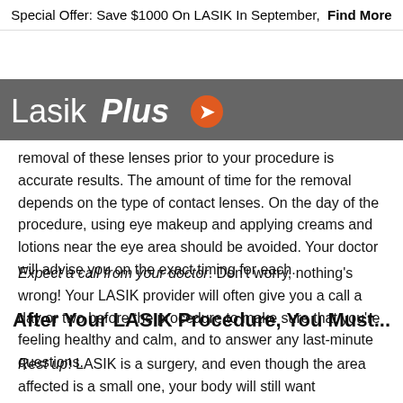Special Offer: Save $1000 On LASIK In September,  Find More
[Figure (logo): LasikPlus logo with orange circle icon on dark grey banner]
removal of these lenses prior to your procedure is accurate results. The amount of time for the removal depends on the type of contact lenses. On the day of the procedure, using eye makeup and applying creams and lotions near the eye area should be avoided. Your doctor will advise you on the exact timing for each.
Expect a call from your doctor. Don't worry, nothing's wrong! Your LASIK provider will often give you a call a day or two before the procedure to make sure that you're feeling healthy and calm, and to answer any last-minute questions.
After Your LASIK Procedure, You Must...
Rest up! LASIK is a surgery, and even though the area affected is a small one, your body will still want